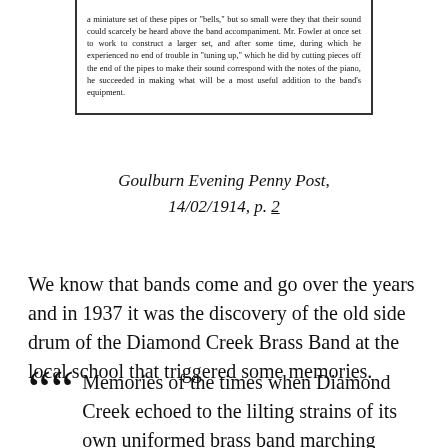[Figure (other): Newspaper clipping excerpt showing text about a miniature set of pipes or bells and Mr. Fowler constructing a larger set and tuning it.]
Goulburn Evening Penny Post, 14/02/1914, p. 2
We know that bands come and go over the years and in 1937 it was the discovery of the old side drum of the Diamond Creek Brass Band at the local school that triggered some memories.
Memories of the times when Diamond Creek echoed to the lilting strains of its own uniformed brass band marching along the streets were revived this week